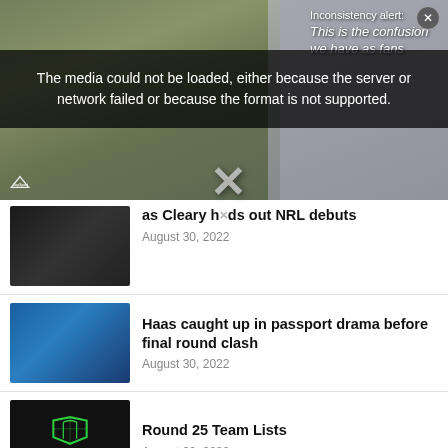[Figure (screenshot): Video player showing people in yellow shirts on a couch with TopSport logo, overlaid with error message and inconsistency alert text]
The media could not be loaded, either because the server or network failed or because the format is not supported.
as Cleary hands out NRL debuts
August 30, 2022
Haas caught up in passport drama before final round clash
August 30, 2022
Round 25 Team Lists
August 30, 2022
Premiers confirm 13-man overhaul, name surprise captain
August 30, 2022
NRL veterans unite in criticism of judiciary fines: "Not a deterrent"